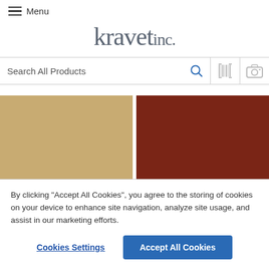Menu
kravet inc.
Search All Products
[Figure (screenshot): Two fabric color swatches side by side: left is tan/beige, right is dark red/burgundy]
By clicking “Accept All Cookies”, you agree to the storing of cookies on your device to enhance site navigation, analyze site usage, and assist in our marketing efforts.
Cookies Settings  Accept All Cookies